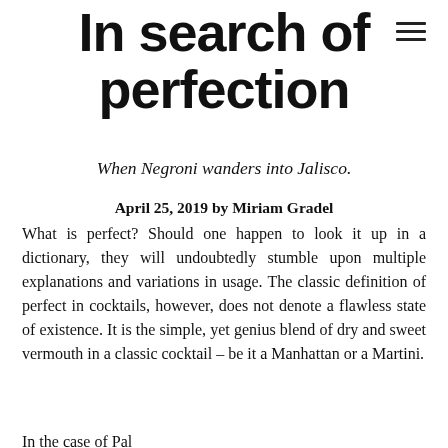In search of perfection
When Negroni wanders into Jalisco.
April 25, 2019 by Miriam Gradel
What is perfect? Should one happen to look it up in a dictionary, they will undoubtedly stumble upon multiple explanations and variations in usage. The classic definition of perfect in cocktails, however, does not denote a flawless state of existence. It is the simple, yet genius blend of dry and sweet vermouth in a classic cocktail – be it a Manhattan or a Martini.
In the case of Palermo, and by some accounts of a...